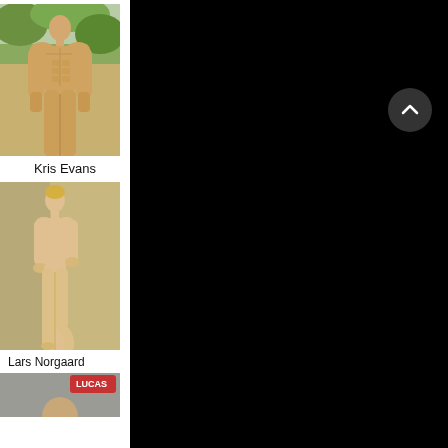[Figure (photo): Full-body photo of muscular man (Kris Evans) standing outdoors with greenery background]
Kris Evans
[Figure (photo): Full-body photo of slim blond man (Lars Norgaard) posing against neutral background]
Lars Norgaard
[Figure (photo): Partial photo of third person, partially visible at bottom, with Lucas Entertainment watermark]